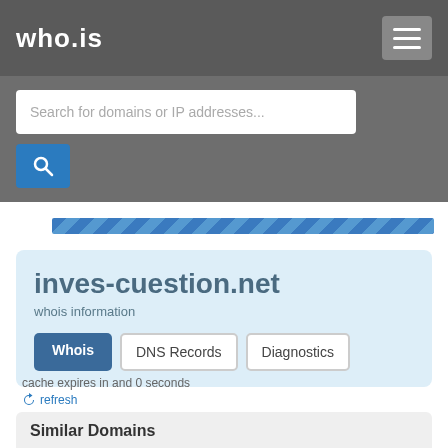who.is
Search for domains or IP addresses...
inves-cuestion.net
whois information
Whois | DNS Records | Diagnostics
cache expires in and 0 seconds
refresh
Similar Domains
inves.net.com | inves.hot.com | inves-business.com | inves...